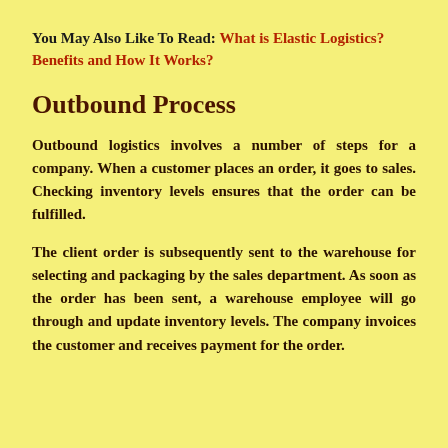You May Also Like To Read: What is Elastic Logistics? Benefits and How It Works?
Outbound Process
Outbound logistics involves a number of steps for a company. When a customer places an order, it goes to sales. Checking inventory levels ensures that the order can be fulfilled.
The client order is subsequently sent to the warehouse for selecting and packaging by the sales department. As soon as the order has been sent, a warehouse employee will go through and update inventory levels. The company invoices the customer and receives payment for the order.